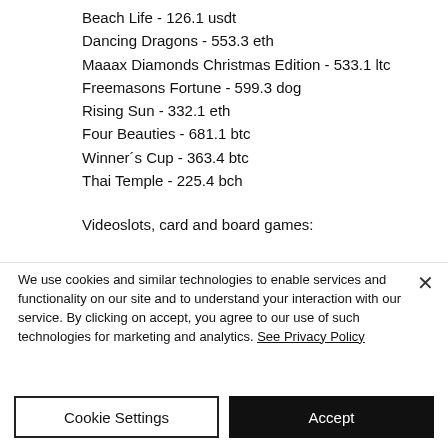Beach Life - 126.1 usdt
Dancing Dragons - 553.3 eth
Maaax Diamonds Christmas Edition - 533.1 ltc
Freemasons Fortune - 599.3 dog
Rising Sun - 332.1 eth
Four Beauties - 681.1 btc
Winner´s Cup - 363.4 btc
Thai Temple - 225.4 bch
Videoslots, card and board games:
We use cookies and similar technologies to enable services and functionality on our site and to understand your interaction with our service. By clicking on accept, you agree to our use of such technologies for marketing and analytics. See Privacy Policy